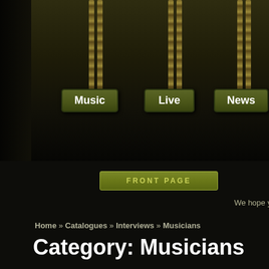[Figure (screenshot): Website header with chain-hanging navigation signs for Music, Live, News and META logo in yellow-green grunge style]
FRONT PAGE
We hope you enjoy your visit he
Home » Catalogues » Interviews » Musicians
Category: Musicians
Musicians and songwriters of all sorts.
| Interviewee | Band | Inte |
| --- | --- | --- |
| James Gnarwell | Bison B.C. | Harry Papa |
| James Dawson, Jon Liffen, Chris Pratt | Bleed Again | Lotty Whittin |